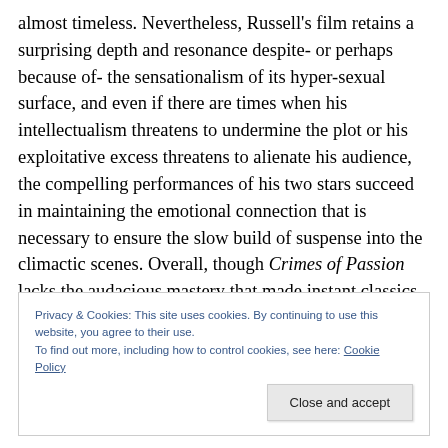almost timeless. Nevertheless, Russell's film retains a surprising depth and resonance despite- or perhaps because of- the sensationalism of its hyper-sexual surface, and even if there are times when his intellectualism threatens to undermine the plot or his exploitative excess threatens to alienate his audience, the compelling performances of his two stars succeed in maintaining the emotional connection that is necessary to ensure the slow build of suspense into the climactic scenes. Overall, though Crimes of Passion lacks the audacious mastery that made instant classics of some of
Privacy & Cookies: This site uses cookies. By continuing to use this website, you agree to their use.
To find out more, including how to control cookies, see here: Cookie Policy